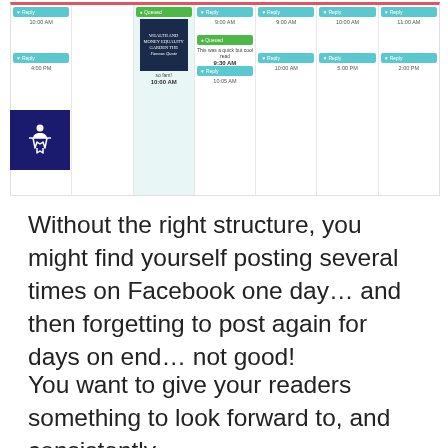[Figure (screenshot): Social media scheduling calendar UI screenshot showing multiple columns with Reply and Queued buttons, time labels, a book image post, and post content snippets. Accessibility icon in bottom-left corner.]
Without the right structure, you might find yourself posting several times on Facebook one day… and then forgetting to post again for days on end… not good!
You want to give your readers something to look forward to, and consistently